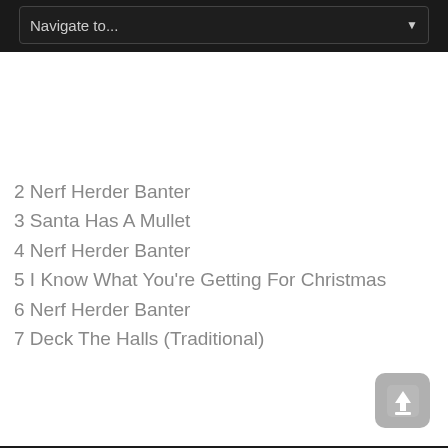Navigate to...
2 Nerf Herder Banter
3 Santa Has A Mullet
4 Nerf Herder Banter
5 I Know What You're Getting For Christmas
6 Nerf Herder Banter
7 Deck The Halls (Traditional)